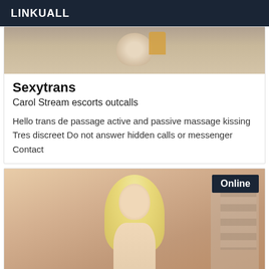LINKUALL
[Figure (photo): Top portion of a listing card showing a partial indoor photo with bottles/containers in the background]
Sexytrans
Carol Stream escorts outcalls
Hello trans de passage active and passive massage kissing Tres discreet Do not answer hidden calls or messenger Contact
[Figure (photo): Photo of a blonde woman outdoors near a building, with an 'Online' badge in the top-right corner]